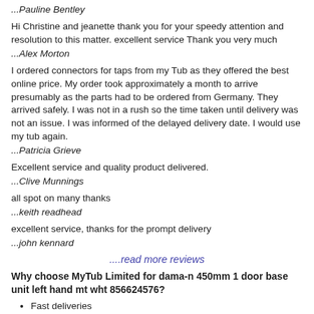...Pauline Bentley
Hi Christine and jeanette thank you for your speedy attention and resolution to this matter. excellent service Thank you very much
...Alex Morton
I ordered connectors for taps from my Tub as they offered the best online price. My order took approximately a month to arrive presumably as the parts had to be ordered from Germany. They arrived safely. I was not in a rush so the time taken until delivery was not an issue. I was informed of the delayed delivery date. I would use my tub again.
...Patricia Grieve
Excellent service and quality product delivered.
...Clive Munnings
all spot on many thanks
...keith readhead
excellent service, thanks for the prompt delivery
...john kennard
....read more reviews
Why choose MyTub Limited for dama-n 450mm 1 door base unit left hand mt wht 856624576?
Fast deliveries
Nationwide UK distribution delivery network
Local pickup if required
Professional Human Service